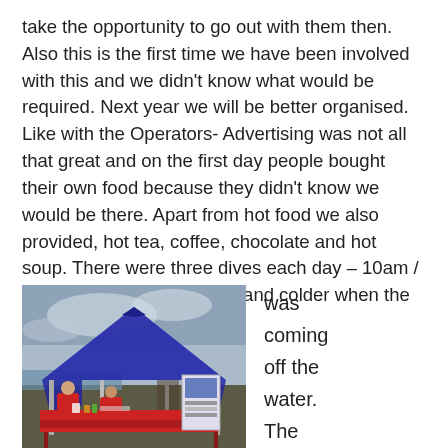take the opportunity to go out with them then. Also this is the first time we have been involved with this and we didn't know what would be required. Next year we will be better organised. Like with the Operators- Advertising was not all that great and on the first day people bought their own food because they didn't know we would be there. Apart from hot food we also provided, hot tea, coffee, chocolate and hot soup. There were three dives each day – 10am / 12 noon / 3pm. It was cold and colder when the wind
[Figure (photo): Outdoor food/catering stall under a large blue canopy tent, set up near the water. Two people in red jackets are visible behind a red table with supplies. A display board is visible on the right side. Overcast sky in the background.]
was coming off the water. The